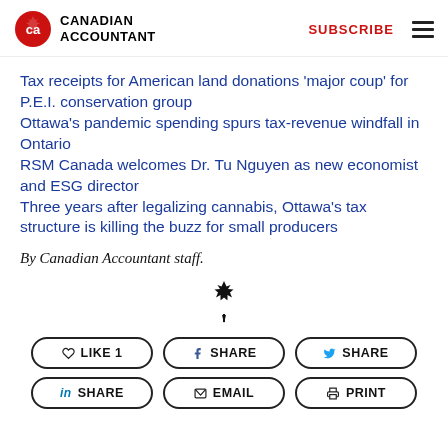CANADIAN ACCOUNTANT | SUBSCRIBE
Tax receipts for American land donations 'major coup' for P.E.I. conservation group
Ottawa's pandemic spending spurs tax-revenue windfall in Ontario
RSM Canada welcomes Dr. Tu Nguyen as new economist and ESG director
Three years after legalizing cannabis, Ottawa's tax structure is killing the buzz for small producers
By Canadian Accountant staff.
[Figure (logo): Canadian Accountant logo icon (maple leaf with 'ca')]
LIKE 1 | SHARE | SHARE | SHARE | EMAIL | PRINT